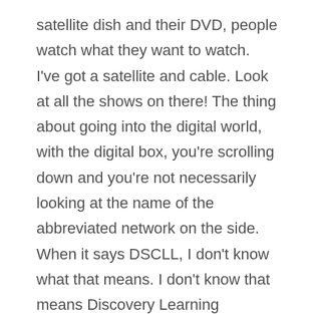satellite dish and their DVD, people watch what they want to watch. I've got a satellite and cable. Look at all the shows on there! The thing about going into the digital world, with the digital box, you're scrolling down and you're not necessarily looking at the name of the abbreviated network on the side. When it says DSCLL, I don't know what that means. I don't know that means Discovery Learning Channel, you know what I'm saying? I just see the name of the show. I think in some ways with the proliferation of channels and the digital and the satellite, people just see a slot with a name in